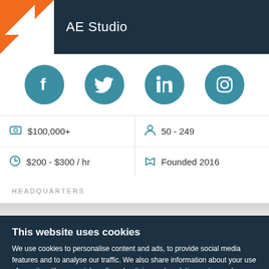AE Studio
[Figure (infographic): Social media icons row: Facebook, Twitter, LinkedIn, Instagram — all in teal circular buttons]
| $100,000+ | 50 - 249 |
| $200 - $300 / hr | Founded 2016 |
HEADQUARTERS
This website uses cookies
We use cookies to personalise content and ads, to provide social media features and to analyse our traffic. We also share information about your use of our site with our social media, advertising and analytics partners who may combine it with other information that you've provided to them or that they've collected from your use of their services. You agree to our cookies if you continue to use our website.
Close
Show details